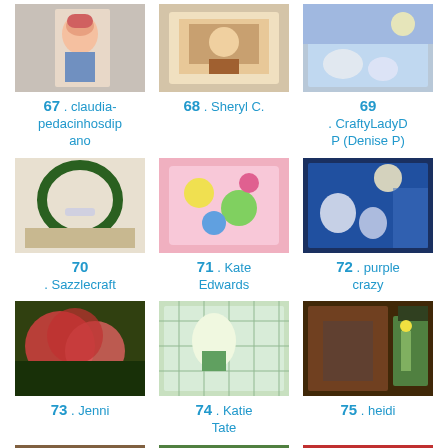[Figure (photo): Photo thumbnail for entry 67]
67 . claudia-pedacinhosdipano
[Figure (photo): Photo thumbnail for entry 68]
68 . Sheryl C.
[Figure (photo): Photo thumbnail for entry 69]
69 . CraftyLadyDP (Denise P)
[Figure (photo): Photo thumbnail for entry 70]
70 . Sazzlecraft
[Figure (photo): Photo thumbnail for entry 71]
71 . Kate Edwards
[Figure (photo): Photo thumbnail for entry 72]
72 . purple crazy
[Figure (photo): Photo thumbnail for entry 73]
73 . Jenni
[Figure (photo): Photo thumbnail for entry 74]
74 . Katie Tate
[Figure (photo): Photo thumbnail for entry 75]
75 . heidi
[Figure (photo): Photo thumbnail for entry 76]
76 . Patti
[Figure (photo): Photo thumbnail for entry 77]
77 . Joyce
[Figure (photo): Photo thumbnail for entry 78]
78 . Cheryl First